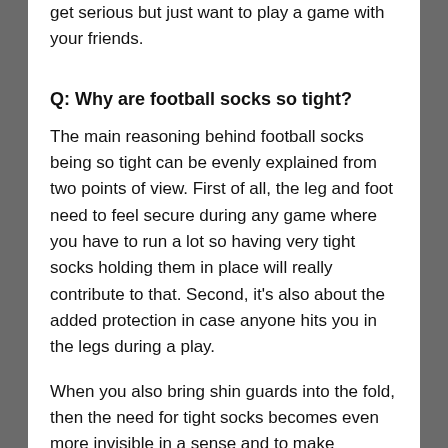get serious but just want to play a game with your friends.
Q: Why are football socks so tight?
The main reasoning behind football socks being so tight can be evenly explained from two points of view. First of all, the leg and foot need to feel secure during any game where you have to run a lot so having very tight socks holding them in place will really contribute to that. Second, it's also about the added protection in case anyone hits you in the legs during a play.
When you also bring shin guards into the fold, then the need for tight socks becomes even more invisible in a sense and to make...